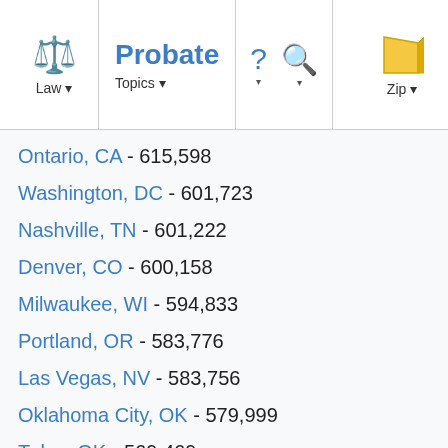Law | Probate | Topics | ? | Search | Zip
Ontario, CA - 615,598
Washington, DC - 601,723
Nashville, TN - 601,222
Denver, CO - 600,158
Milwaukee, WI - 594,833
Portland, OR - 583,776
Las Vegas, NV - 583,756
Oklahoma City, OK - 579,999
Tulsa, OK - 569,469
Nashville-Davidson, TN - 545,524
Orlando, FL - 539,261
Atlanta, GA - 531,648
Tucson, AZ - 520,116
Arlington, TX - 491,713
Brookhaven, NY - 486,040
Staten Island, NY - 468,730